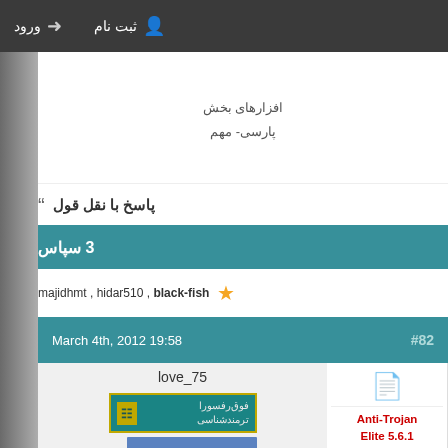ورود  ثبت نام
افزارهای بخش پارسی- مهم
پاسخ با نقل قول
3 سپاس
majidhmt , hidar510 , black-fish ★
#82  March 4th, 2012 19:58
love_75
Anti-Trojan Elite 5.6.1
آنها اعضای سایت قادر به دیدن لینک‌ها هستند.
برای عضویت ر